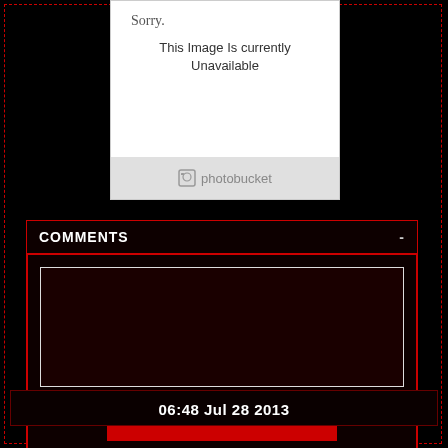[Figure (screenshot): Photobucket image unavailable placeholder showing 'Sorry. This Image Is currently Unavailable' with photobucket logo footer]
COMMENTS
[Figure (screenshot): Comment textarea input box (empty, dark red background)]
POST COMMENT
06:48 Jul 28 2013